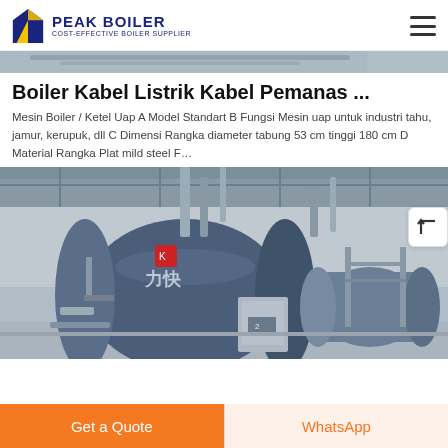PEAK BOILER COST-EFFECTIVE BOILER SUPPLIER
[Figure (photo): Top strip: partial view of industrial boiler equipment]
Boiler Kabel Listrik Kabel Pemanas ...
Mesin Boiler / Ketel Uap A Model Standart B Fungsi Mesin uap untuk industri tahu, jamur, kerupuk, dll C Dimensi Rangka diameter tabung 53 cm tinggi 180 cm D Material Rangka Plat mild steel F…
[Figure (photo): Industrial boiler room showing large horizontal blue cylindrical boilers with Chinese text labeling, pipes, and control panels on factory floor]
Get a Quote | WhatsApp